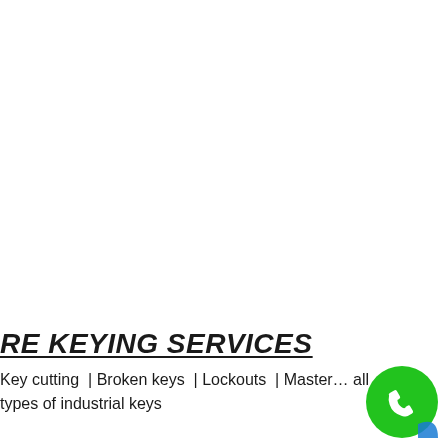RE KEYING SERVICES
Key cutting  | Broken keys  | Lockouts  | Master... all types of industrial keys
[Figure (other): Green circular phone/call button icon with white telephone handset symbol]